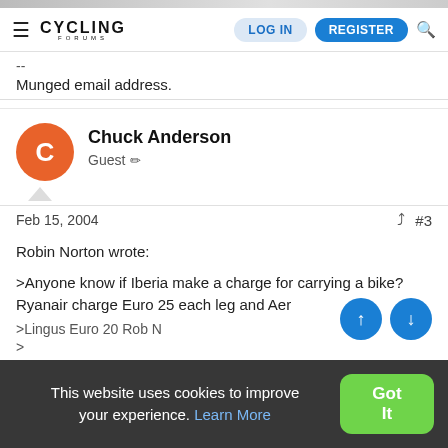Cycling Forums — LOG IN | REGISTER
--
Munged email address.
Chuck Anderson
Guest
Feb 15, 2004  #3
Robin Norton wrote:

>Anyone know if Iberia make a charge for carrying a bike? Ryanair charge Euro 25 each leg and Aer
>Lingus Euro 20 Rob N
>
>
>